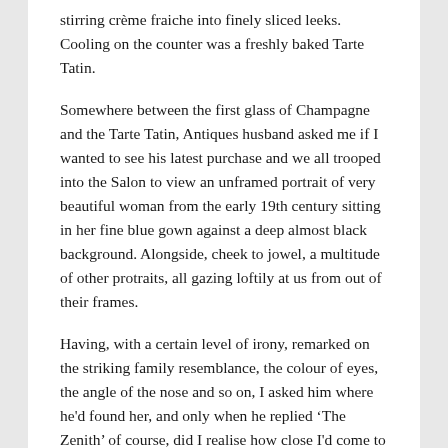stirring crème fraiche into finely sliced leeks. Cooling on the counter was a freshly baked Tarte Tatin.
Somewhere between the first glass of Champagne and the Tarte Tatin, Antiques husband asked me if I wanted to see his latest purchase and we all trooped into the Salon to view an unframed portrait of very beautiful woman from the early 19th century sitting in her fine blue gown against a deep almost black background. Alongside, cheek to jowel, a multitude of other protraits, all gazing loftily at us from out of their frames.
Having, with a certain level of irony, remarked on the striking family resemblance, the colour of eyes, the angle of the nose and so on, I asked him where he'd found her, and only when he replied 'The Zenith' of course, did I realise how close I'd come to missing the most beautiful fair of the Antiques calendar – The Rouen Puces. We laughed